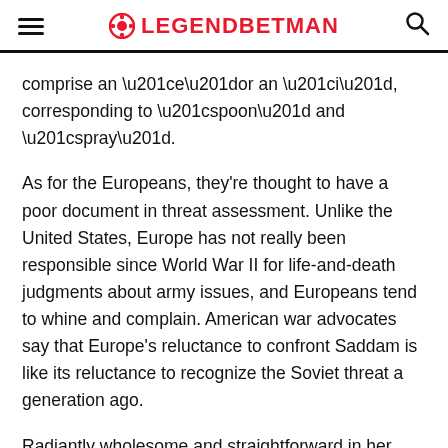LEGENDBETMAN
comprise an “e”or an “i”, corresponding to “spoon” and “spray”.
As for the Europeans, they’re thought to have a poor document in threat assessment. Unlike the United States, Europe has not really been responsible since World War II for life-and-death judgments about army issues, and Europeans tend to whine and complain. American war advocates say that Europe’s reluctance to confront Saddam is like its reluctance to recognize the Soviet threat a generation ago.
Radiantly wholesome and straightforward in her own pores and skin, Curtis is gifted with a trenchant wit and self-awareness, which she deploys when sharing her personal life struggles. The daughter of movie stars Janet Leigh and Tony